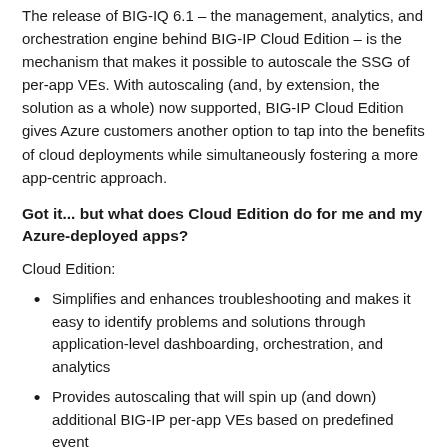The release of BIG-IQ 6.1 – the management, analytics, and orchestration engine behind BIG-IP Cloud Edition – is the mechanism that makes it possible to autoscale the SSG of per-app VEs. With autoscaling (and, by extension, the solution as a whole) now supported, BIG-IP Cloud Edition gives Azure customers another option to tap into the benefits of cloud deployments while simultaneously fostering a more app-centric approach.
Got it... but what does Cloud Edition do for me and my Azure-deployed apps?
Cloud Edition:
Simplifies and enhances troubleshooting and makes it easy to identify problems and solutions through application-level dashboarding, orchestration, and analytics
Provides autoscaling that will spin up (and down) additional BIG-IP per-app VEs based on predefined event